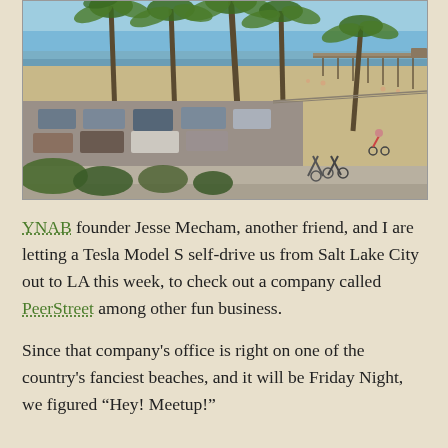[Figure (photo): Aerial/elevated view of a beach scene with palm trees in the foreground, a parking lot with cars, a bike path with cyclists, sandy beach, ocean, and a long pier extending into the water on the right side. Blue sky above.]
YNAB founder Jesse Mecham, another friend, and I are letting a Tesla Model S self-drive us from Salt Lake City out to LA this week, to check out a company called PeerStreet among other fun business.

Since that company's office is right on one of the country's fanciest beaches, and it will be Friday Night, we figured "Hey! Meetup!"